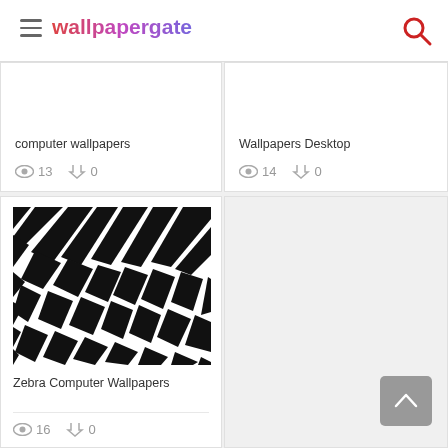wallpapergate
computer wallpapers
👁 13  ⬇ 0
Wallpapers Desktop
👁 14  ⬇ 0
[Figure (photo): Black and white zebra stripe pattern wallpaper thumbnail]
Zebra Computer Wallpapers
👁 16  ⬇ 0